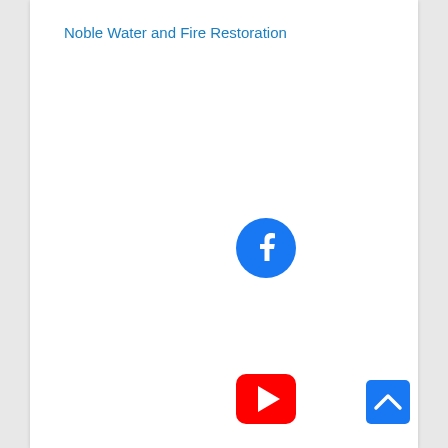Noble Water and Fire Restoration
[Figure (logo): Facebook logo: blue circle with white 'f' letter]
[Figure (logo): YouTube logo: red rounded rectangle with white play button triangle]
[Figure (other): Blue square scroll-to-top button with white upward chevron arrow]